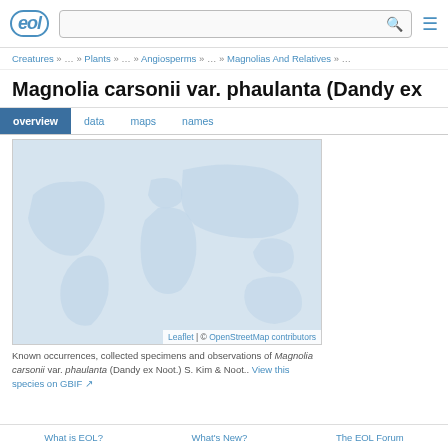eol [logo] | [search bar] | [menu]
Creatures » … » Plants » … » Angiosperms » … » Magnolias And Relatives » …
Magnolia carsonii var. phaulanta (Dandy ex
overview  data  maps  names
[Figure (map): A light blue world map showing known occurrences of Magnolia carsonii var. phaulanta. The map is rendered by Leaflet using OpenStreetMap data. Map attribution reads: Leaflet | © OpenStreetMap contributors.]
Known occurrences, collected specimens and observations of Magnolia carsonii var. phaulanta (Dandy ex Noot.) S. Kim & Noot.. View this species on GBIF ↗
What is EOL?   What's New?   The EOL Forum